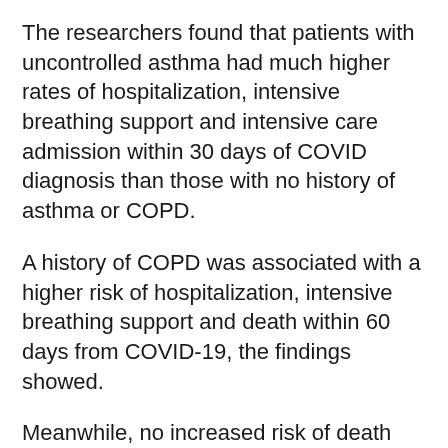The researchers found that patients with uncontrolled asthma had much higher rates of hospitalization, intensive breathing support and intensive care admission within 30 days of COVID diagnosis than those with no history of asthma or COPD.
A history of COPD was associated with a higher risk of hospitalization, intensive breathing support and death within 60 days from COVID-19, the findings showed.
Meanwhile, no increased risk of death within 60 days was found among patients with uncontrolled asthma, according to the report published Aug. 10 in The Journal of Allergy and Clinical Immunology: In Practica.